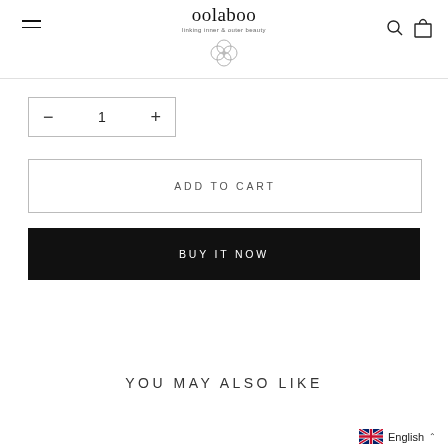oolaboo — linking inner & outer beauty
[Figure (screenshot): Quantity selector with minus, 1, plus controls in a bordered box]
[Figure (screenshot): ADD TO CART button, white background with border]
[Figure (screenshot): BUY IT NOW button, black background with white text]
YOU MAY ALSO LIKE
English